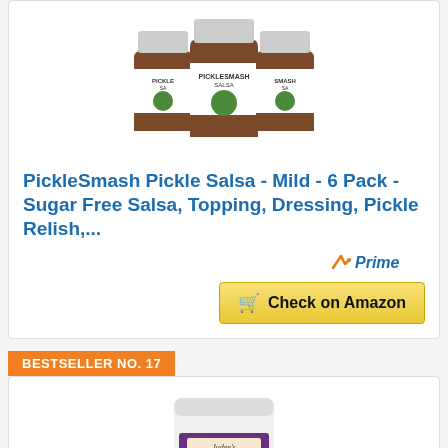[Figure (photo): Three jars of PickleSmash Pickle Salsa product, showing jars with white labels featuring a cartoon pickle character wearing a sombrero]
PickleSmash Pickle Salsa - Mild - 6 Pack - Sugar Free Salsa, Topping, Dressing, Pickle Relish,...
[Figure (logo): Amazon Prime badge with orange checkmark and blue italic Prime text]
Check on Amazon
BESTSELLER NO. 17
[Figure (photo): Judee's Dill Pickle Seasoning product in a white resealable bag with purple label]